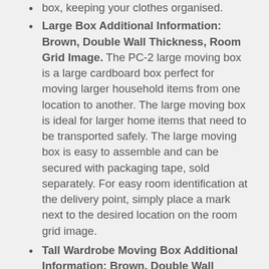box, keeping your clothes organised.
Large Box Additional Information: Brown, Double Wall Thickness, Room Grid Image. The PC-2 large moving box is a large cardboard box perfect for moving larger household items from one location to another. The large moving box is ideal for larger home items that need to be transported safely. The large moving box is easy to assemble and can be secured with packaging tape, sold separately. For easy room identification at the delivery point, simply place a mark next to the desired location on the room grid image.
Tall Wardrobe Moving Box Additional Information: Brown, Double Wall Thickness, Room Grid Image. The WC-B tall wardrobe moving box is the perfect box